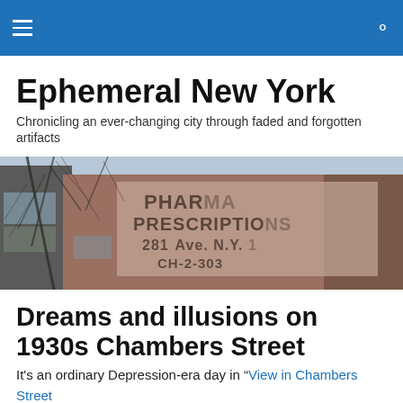Ephemeral New York — navigation header with hamburger menu and search icon
Ephemeral New York
Chronicling an ever-changing city through faded and forgotten artifacts
[Figure (photo): Photograph of a faded ghost sign on a brick building reading PHARMA PRESCRIPTIONS 281 Ave. N.Y. CH-2-303, with bare trees in the foreground]
Dreams and illusions on 1930s Chambers Street
It's an ordinary Depression-era day in “View in Chambers Street” painted by O. Louis Guglielmi in 1936. On this